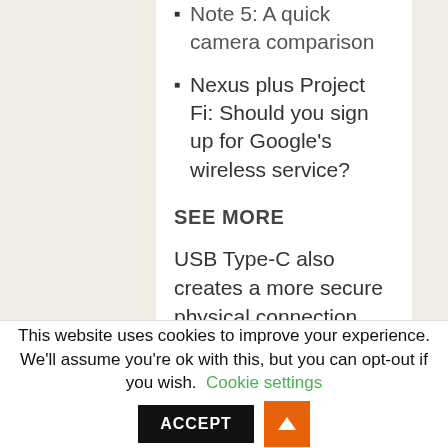Note 5: A quick camera comparison
Nexus plus Project Fi: Should you sign up for Google's wireless service?
SEE MORE
USB Type-C also creates a more secure physical connection and allows for super fast charging — 10 minutes on the outlet gets you up to four hours of extra battery life for the Nexus 5X and up to seven hours of power for the 6P. (Neither
This website uses cookies to improve your experience. We'll assume you're ok with this, but you can opt-out if you wish. Cookie settings ACCEPT